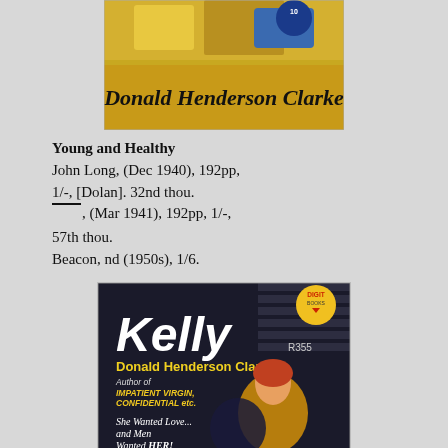[Figure (illustration): Top portion of a book cover showing 'Donald Henderson Clarke' text in italic script on a yellow/orange background with some decorative elements visible at top]
Young and Healthy
John Long, (Dec 1940), 192pp, 1/-, [Dolan]. 32nd thou.
——, (Mar 1941), 192pp, 1/-, 57th thou.
Beacon, nd (1950s), 1/6.
[Figure (illustration): Book cover for 'Kelly' by Donald Henderson Clarke. Dark background with the title 'Kelly' in large white letters and 'R355' in top right corner. Yellow 'DIGIT BOOKS' circular logo. Text reads 'Donald Henderson Clarke - Author of IMPATIENT VIRGIN, CONFIDENTIAL etc.' and 'She Wanted Love... and Men Wanted HER!' Shows a woman in yellow clothing with a man in dark clothing.]